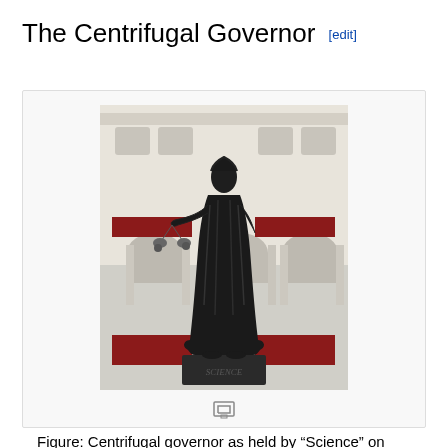The Centrifugal Governor [edit]
[Figure (photo): Bronze statue of a robed female figure labeled 'Science' on a stone plinth, holding scales, standing in front of an ornate white classical building (Holborn Viaduct). The statue holds what appears to be a centrifugal governor in the scales.]
Figure: Centrifugal governor as held by “Science” on Holborn Viaduct